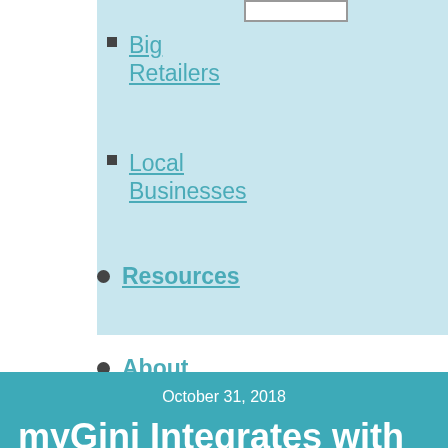Big Retailers
Local Businesses
Resources
About
Contact Us
October 31, 2018
myGini Integrates with Empyr O2O Marketing